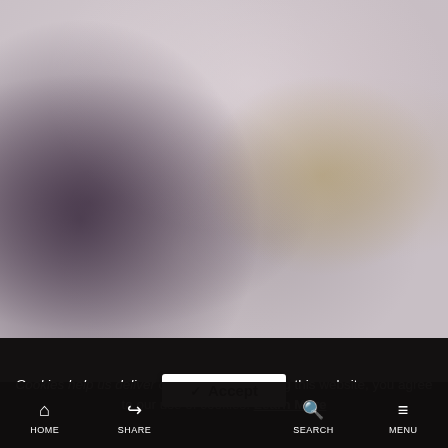[Figure (photo): Blurred background photo showing indistinct shapes with muted purple, gray, and beige tones, likely a blurred product or lifestyle image.]
Cookies help us deliver our services. By using this website, you agree to our use of cookies. Learn More
✓ Accept
HOME  SHARE  SEARCH  MENU